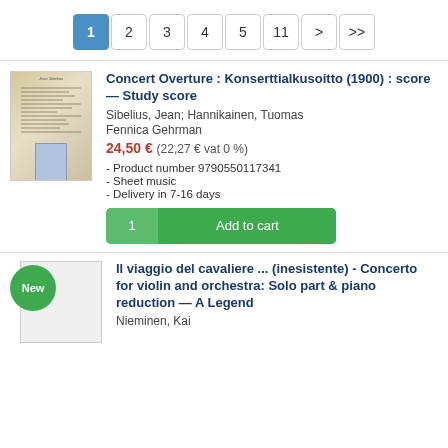[Figure (screenshot): Pagination bar with page numbers 1 (active), 2, 3, 4, 5, 11, >, >>]
[Figure (photo): Book cover thumbnail for Concert Overture]
Concert Overture : Konserttialkusoitto (1900) : score — Study score
Sibelius, Jean; Hannikainen, Tuomas
Fennica Gehrman
24,50 € (22,27 € vat 0 %)
Product number 9790550117341
Sheet music
Delivery in 7-16 days
1   Add to cart
[Figure (photo): Book cover thumbnail for Il viaggio del cavaliere with New badge]
Il viaggio del cavaliere ... (inesistente) - Concerto for violin and orchestra: Solo part & piano reduction — A Legend
Nieminen, Kai